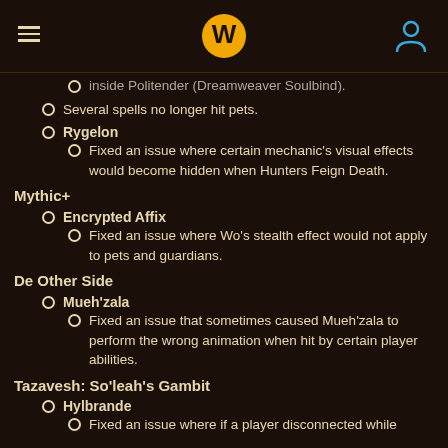World of Warcraft navigation header with logo
inside Politender (Dreamweaver Soulbind).
Several spells no longer hit pets.
Rygelon
Fixed an issue where certain mechanic's visual effects would become hidden when Hunters Feign Death.
Mythic+
Encrypted Affix
Fixed an issue where Wo's stealth effect would not apply to pets and guardians.
De Other Side
Mueh'zala
Fixed an issue that sometimes caused Mueh'zala to perform the wrong animation when hit by certain player abilities.
Tazavesh: So'leah's Gambit
Hylbrande
Fixed an issue where if a player disconnected while